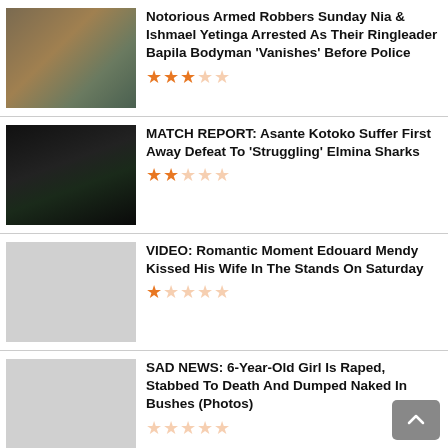Notorious Armed Robbers Sunday Nia & Ishmael Yetinga Arrested As Their Ringleader Bapila Bodyman 'Vanishes' Before Police
MATCH REPORT: Asante Kotoko Suffer First Away Defeat To 'Struggling' Elmina Sharks
VIDEO: Romantic Moment Edouard Mendy Kissed His Wife In The Stands On Saturday
SAD NEWS: 6-Year-Old Girl Is Raped, Stabbed To Death And Dumped Naked In Bushes (Photos)
Eden Hazard Finally Sends Apology To Chelsea Fans After Been Left Out Of Madrid Shaktar Game